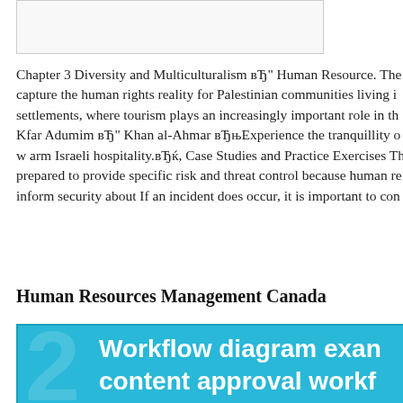[Figure (other): Top image/banner placeholder box]
Chapter 3 Diversity and Multiculturalism вЂ" Human Resource. The capture the human rights reality for Palestinian communities living in settlements, where tourism plays an increasingly important role in the Kfar Adumim вЂ" Khan al-Ahmar вЂњExperience the tranquillity o w arm Israeli hospitality.вЂќ, Case Studies and Practice Exercises Th prepared to provide specific risk and threat control because human re inform security about If an incident does occur, it is important to con
Human Resources Management Canada
[Figure (flowchart): Workflow diagram example content approval workflow — teal/cyan background with white bold text partially visible]